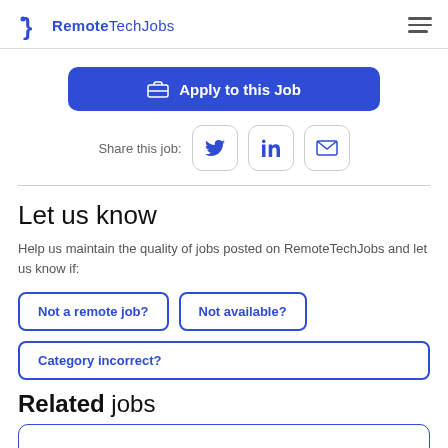RemoteTechJobs
Apply to this Job
Share this job: [Twitter] [LinkedIn] [Email]
Let us know
Help us maintain the quality of jobs posted on RemoteTechJobs and let us know if:
Not a remote job?
Not available?
Category incorrect?
Related jobs